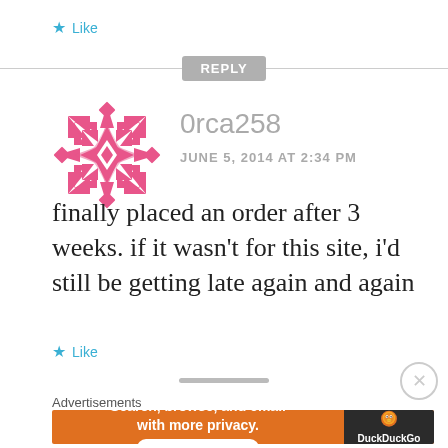★ Like
REPLY
[Figure (illustration): Pink decorative snowflake/mandala avatar icon for user 0rca258]
0rca258
JUNE 5, 2014 AT 2:34 PM
finally placed an order after 3 weeks. if it wasn't for this site, i'd still be getting late again and again
★ Like
Advertisements
[Figure (screenshot): DuckDuckGo advertisement banner: orange background with text 'Search, browse, and email with more privacy. All in One Free App' and DuckDuckGo duck logo on dark background]